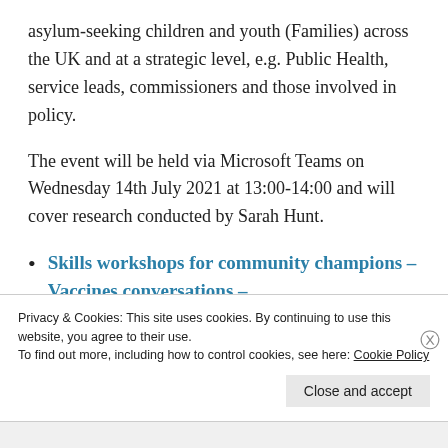asylum-seeking children and youth (Families) across the UK and at a strategic level, e.g. Public Health, service leads, commissioners and those involved in policy.
The event will be held via Microsoft Teams on Wednesday 14th July 2021 at 13:00-14:00 and will cover research conducted by Sarah Hunt.
Skills workshops for community champions – Vaccines conversations –
Privacy & Cookies: This site uses cookies. By continuing to use this website, you agree to their use.
To find out more, including how to control cookies, see here: Cookie Policy